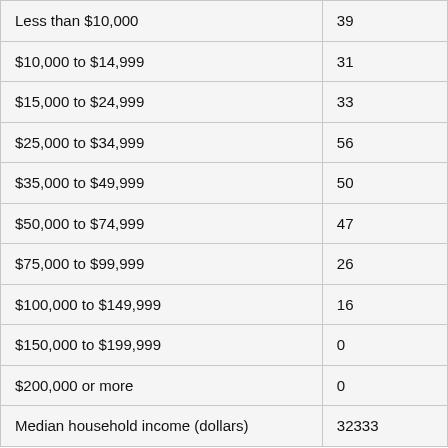| Less than $10,000 | 39 |
| $10,000 to $14,999 | 31 |
| $15,000 to $24,999 | 33 |
| $25,000 to $34,999 | 56 |
| $35,000 to $49,999 | 50 |
| $50,000 to $74,999 | 47 |
| $75,000 to $99,999 | 26 |
| $100,000 to $149,999 | 16 |
| $150,000 to $199,999 | 0 |
| $200,000 or more | 0 |
| Median household income (dollars) | 32333 |